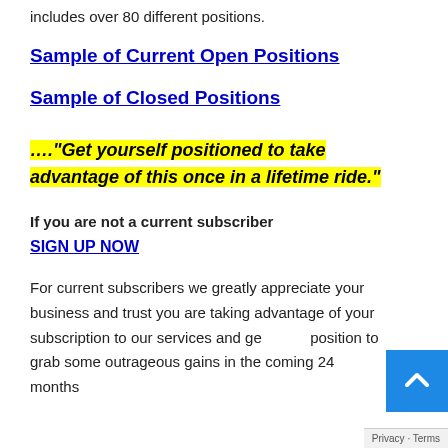includes over 80 different positions.
Sample of Current Open Positions
Sample of Closed Positions
…."Get yourself positioned to take advantage of this once in a lifetime ride."
If you are not a current subscriber
SIGN UP NOW
For current subscribers we greatly appreciate your business and trust you are taking advantage of your subscription to our services and ge... position to grab some outrageous gains in the coming 24 months...